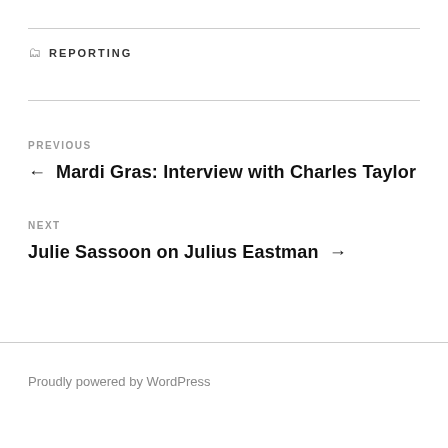REPORTING
PREVIOUS ← Mardi Gras: Interview with Charles Taylor
NEXT Julie Sassoon on Julius Eastman →
Proudly powered by WordPress